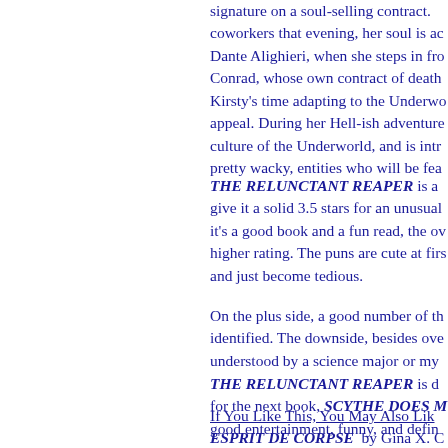signature on a soul-selling contract. coworkers that evening, her soul is ac Dante Alighieri, when she steps in fro Conrad, whose own contract of death Kirsty's time adapting to the Underwo appeal. During her Hell-ish adventure culture of the Underworld, and is intr pretty wacky, entities who will be fea
THE RELUNCTANT REAPER is a give it a solid 3.5 stars for an unusual it's a good book and a fun read, the ov higher rating. The puns are cute at firs and just become tedious.
On the plus side, a good number of th identified. The downside, besides ove understood by a science major or my
THE RELUNCTANT REAPER is d for the next book, SCYTHE DOES M good entertainment, funny, and defin
If You Like This, You May Also Lik ESPRIT DE CORPSE by Gina X. C VAMPIRE by Mi... Ha... CHAR